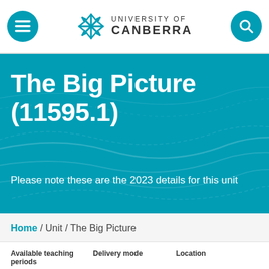[Figure (screenshot): University of Canberra website navigation bar with hamburger menu, logo and search icon]
The Big Picture (11595.1)
Please note these are the 2023 details for this unit
Home / Unit / The Big Picture
Available teaching periods   Delivery mode   Location